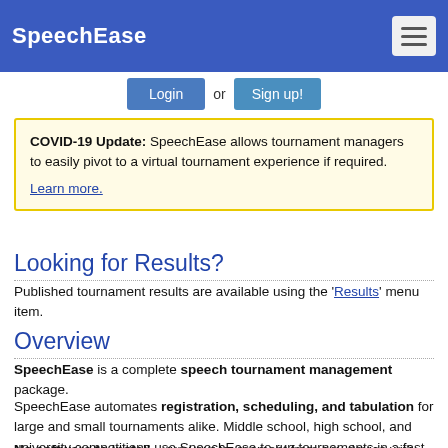SpeechEase
Login or Sign up!
COVID-19 Update: SpeechEase allows tournament managers to easily pivot to a virtual tournament experience if required. Learn more.
Looking for Results?
Published tournament results are available using the 'Results' menu item.
Overview
SpeechEase is a complete speech tournament management package.
SpeechEase automates registration, scheduling, and tabulation for large and small tournaments alike. Middle school, high school, and university competitions use SpeechEase to run tournaments in a fast and efficient manner.
No software to install – run your tournament from any device with